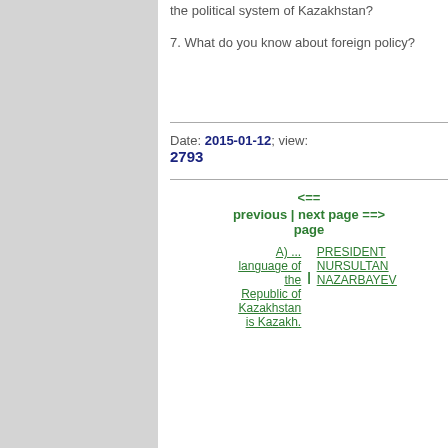the political system of Kazakhstan?
7. What do you know about foreign policy?
Date: 2015-01-12; view: 2793
<== previous page | next page ==>
A) ... language of the Republic of Kazakhstan is Kazakh. | PRESIDENT NURSULTAN NAZARBAYEV